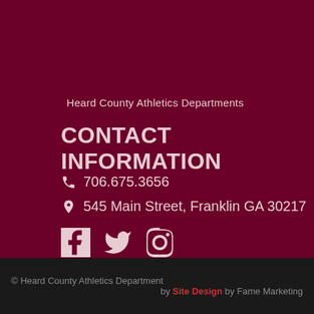Heard County Athletics Departments
CONTACT INFORMATION
706.675.3656
545 Main Street, Franklin GA 30217
[Figure (illustration): Social media icons: Facebook, Twitter, Instagram]
© Heard County Athletics Department
by Site Design by Fame Marketing